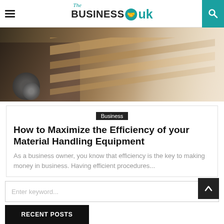The BUSINESS uk
[Figure (photo): Forklift carrying lumber or wood planks in a warehouse, motion blur effect, warm toned industrial photo]
Business
How to Maximize the Efficiency of your Material Handling Equipment
As a business owner, you know that efficiency is the key to making money in business. Having efficient procedures...
Enter keyword...
RECENT POSTS